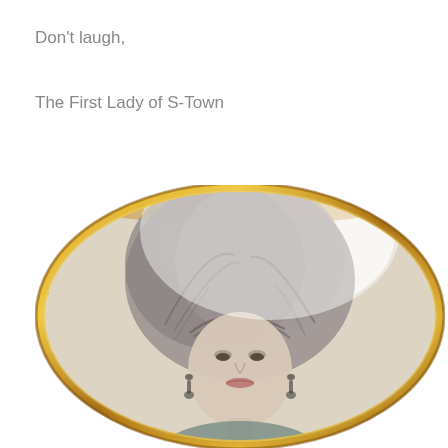Don't laugh,
The First Lady of S-Town
[Figure (photo): A portrait photo in an oval gold frame showing a woman with large teased upswept hair, wearing dangling earrings and a patterned top, appearing to be from the late 1980s or early 1990s.]